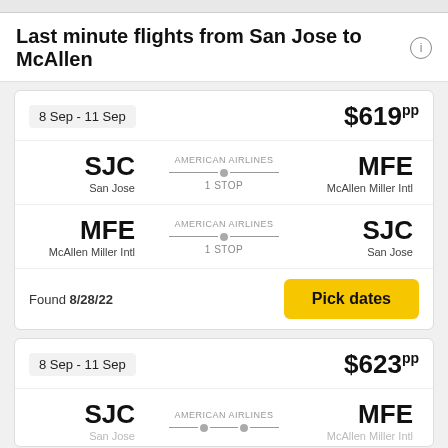Last minute flights from San Jose to McAllen
8 Sep - 11 Sep  $619pp
SJC San Jose — AMERICAN AIRLINES 1 STOP — MFE McAllen Miller Intl
MFE McAllen Miller Intl — AMERICAN AIRLINES 1 STOP — SJC San Jose
Found 8/28/22
Pick dates
8 Sep - 11 Sep  $623pp
SJC San Jose — AMERICAN AIRLINES 1 STOP — MFE McAllen Miller Intl